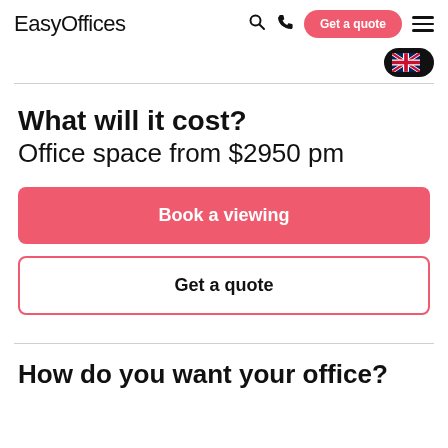EasyOffices — navigation header with search, phone, Get a quote button, hamburger menu
[Figure (illustration): UK flag pill/badge in dark rounded button at top right]
What will it cost?
Office space from $2950 pm
Book a viewing
Get a quote
How do you want your office?